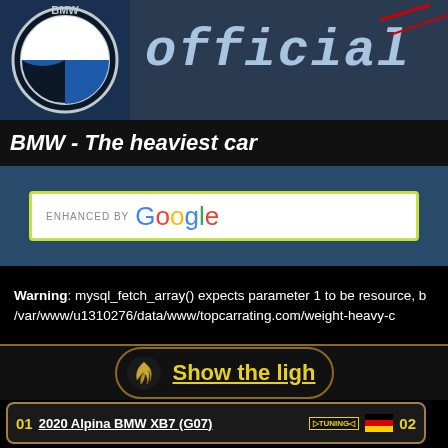[Figure (screenshot): Website header with BMW roundel logo on left and 'official' text in stylized font on dark blue background]
BMW - The heaviest car
[Figure (screenshot): Google enhanced search bar with yellow-green border on blue background]
Warning: mysql_fetch_array() expects parameter 1 to be resource, b /var/www/u1310276/data/www/topcarrating.com/weight-heavy-c
[Figure (infographic): Show the lightest button with golden feather icon and yellow underlined text on dark background with golden border]
01   2020 Alpina BMW XB7 (G07)   TUNING  [German flag]   02
[Figure (photo): 2020 Alpina BMW XB7 (G07) SUV and engine diagram showing V8 engine]